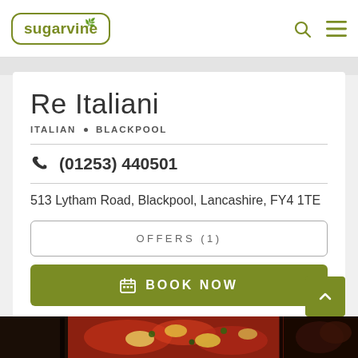sugarvine
Re Italiani
ITALIAN • BLACKPOOL
(01253) 440501
513 Lytham Road, Blackpool, Lancashire, FY4 1TE
OFFERS (1)
BOOK NOW
[Figure (photo): Food photo strip at bottom showing pizza/Italian food]